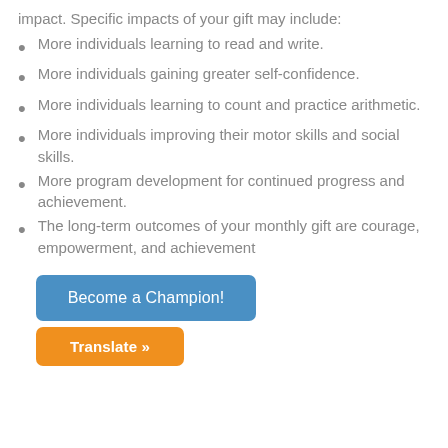impact. Specific impacts of your gift may include:
More individuals learning to read and write.
More individuals gaining greater self-confidence.
More individuals learning to count and practice arithmetic.
More individuals improving their motor skills and social skills.
More program development for continued progress and achievement.
The long-term outcomes of your monthly gift are courage, empowerment, and achievement
Become a Champion!
Translate »